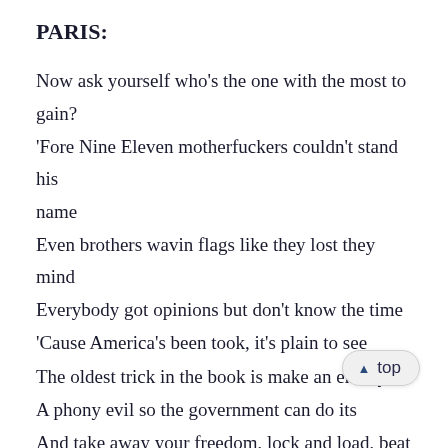PARIS:
Now ask yourself who's the one with the most to gain?
'Fore Nine Eleven motherfuckers couldn't stand his name
Even brothers wavin flags like they lost they mind
Everybody got opinions but don't know the time
'Cause America's been took, it's plain to see
The oldest trick in the book is make an enemy
A phony evil so the government can do its
And take away your freedom, lock and load, beat and search